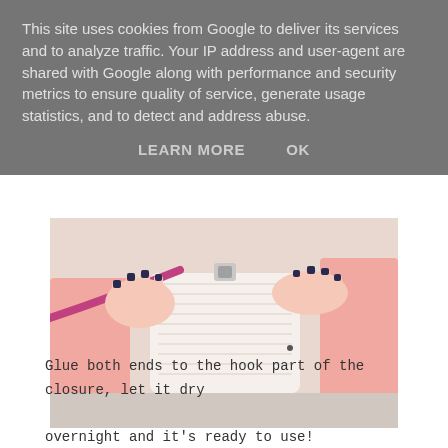This site uses cookies from Google to deliver its services and to analyze traffic. Your IP address and user-agent are shared with Google along with performance and security metrics to ensure quality of service, generate usage statistics, and to detect and address abuse.
LEARN MORE    OK
[Figure (photo): Close-up photo of two hands with dark navy nail polish holding a purse clasp/closure. One hand holds the hook part and the other holds a pink/magenta cord or strap. The person is wearing a pink jacket. The purse appears to be white/cream colored with a textured surface.]
Glue both ends to the hook part of the closure, let it dry overnight and it's ready to use!